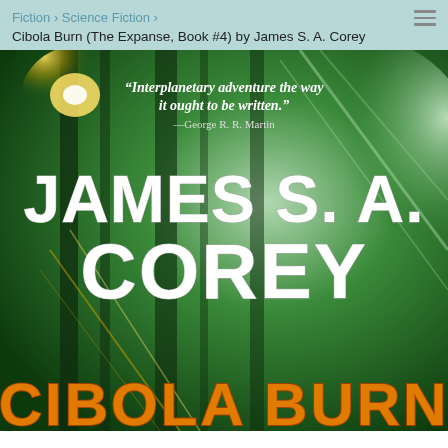Fiction › Science Fiction ›
Cibola Burn (The Expanse, Book #4) by James S. A. Corey
[Figure (illustration): Book cover of 'Cibola Burn' by James S. A. Corey. Dark green sci-fi background with bright light streaks. Features a quote: '"Interplanetary adventure the way it ought to be written." —George R. R. Martin'. Author name 'JAMES S. A. COREY' in large white bold text. Book title 'CIBOLA BURN' in large orange bold text at the bottom.]